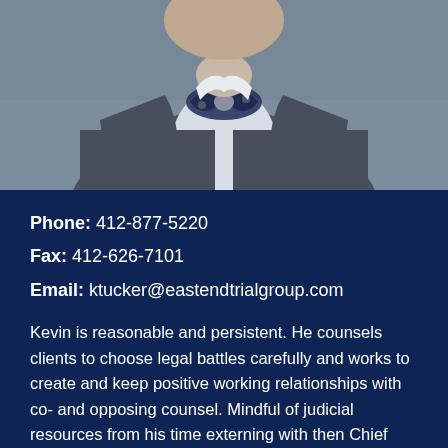[Figure (photo): Professional photo of a man in a grey blazer and decorative bow tie, cropped to show torso/neck area against a blurred background]
Phone: 412-877-5220
Fax: 412-626-7101
Email: ktucker@eastendtrialgroup.com
Kevin is reasonable and persistent. He counsels clients to choose legal battles carefully and works to create and keep positive working relationships with co- and opposing counsel. Mindful of judicial resources from his time externing with then Chief Magistrate Judge Pupo Lenihan in the U.S. District Court for the